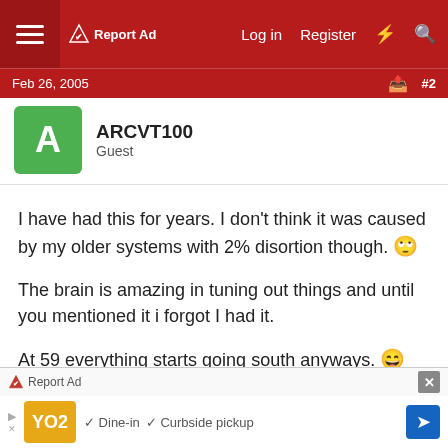Report Ad | Log in | Register
Feb 26, 2005 | #2
ARCVT100
Guest
I have had this for years. I don't think it was caused by my older systems with 2% disortion though. 🙄

The brain is amazing in tuning out things and until you mentioned it i forgot I had it.

At 59 everything starts going south anyways. 😄

It is all relative anyway. If i have 90% of my hearing does that mean i still can't enjoy what I do hear?
Report Ad | Dine-in ✓ Curbside pickup